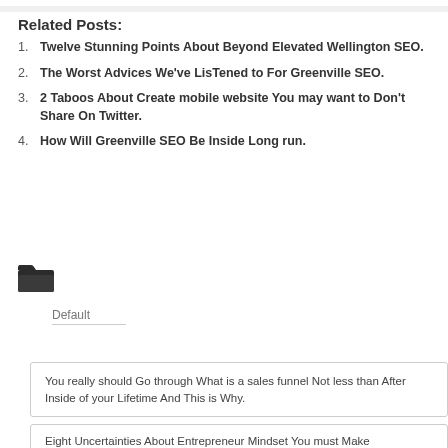Related Posts:
Twelve Stunning Points About Beyond Elevated Wellington SEO.
The Worst Advices We've LisTened to For Greenville SEO.
2 Taboos About Create mobile website You may want to Don't Share On Twitter.
How Will Greenville SEO Be Inside Long run.
[Figure (illustration): Folder icon (open folder, dark/black style)]
Default
You really should Go through What is a sales funnel Not less than After Inside of your Lifetime And This is Why.
Eight Uncertainties About Entrepreneur Mindset You must Make...